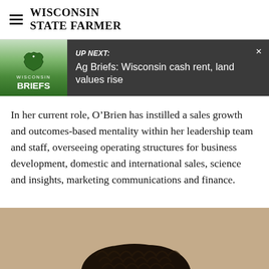WISCONSIN STATE FARMER
UP NEXT: Ag Briefs: Wisconsin cash rent, land values rise
In her current role, O’Brien has instilled a sales growth and outcomes-based mentality within her leadership team and staff, overseeing operating structures for business development, domestic and international sales, science and insights, marketing communications and finance.
[Figure (photo): Bottom portion showing the top of a person's head with dark curly hair against a tan/beige background]